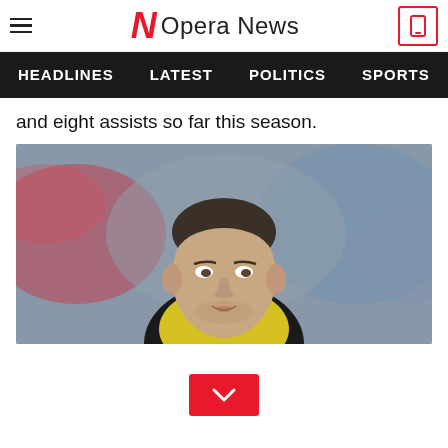Opera News
HEADLINES  LATEST  POLITICS  SPORTS  B
and eight assists so far this season.
[Figure (photo): Close-up photo of a young male footballer wearing a yellow/black jersey, with blurred stadium crowd background in red and blue tones.]
[Figure (other): Red button with a downward chevron/arrow icon]